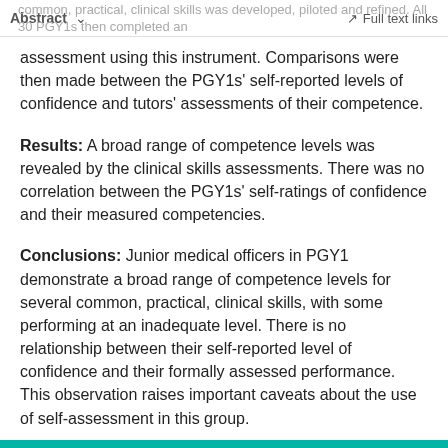Abstract  ∨  ⧉  Full text links
common, practical, clinical skills was developed, piloted and refined. All 30 PGY1s then completed an assessment using this instrument. Comparisons were then made between the PGY1s' self-reported levels of confidence and tutors' assessments of their competence.
Results: A broad range of competence levels was revealed by the clinical skills assessments. There was no correlation between the PGY1s' self-ratings of confidence and their measured competencies.
Conclusions: Junior medical officers in PGY1 demonstrate a broad range of competence levels for several common, practical, clinical skills, with some performing at an inadequate level. There is no relationship between their self-reported level of confidence and their formally assessed performance. This observation raises important caveats about the use of self-assessment in this group.